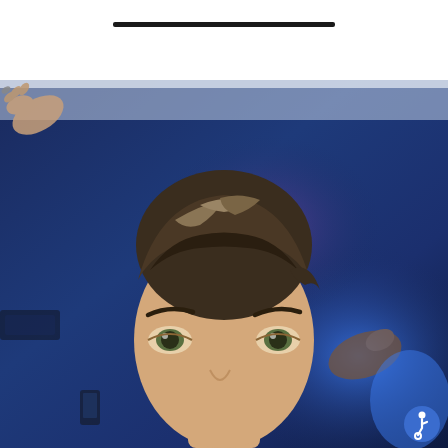[Figure (photo): A photograph showing a person with short styled hair and prominent eyebrows looking upward, in front of a blurred blue background. In the upper left, a hand is visible holding something small. A circular blue accessibility icon button is visible in the lower right corner. The top portion of the image is white with a dark horizontal bar/line element.]